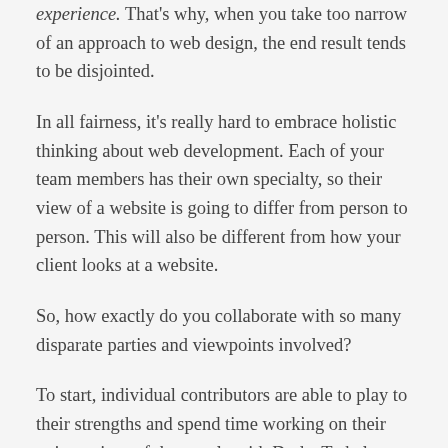experience. That's why, when you take too narrow of an approach to web design, the end result tends to be disjointed.
In all fairness, it's really hard to embrace holistic thinking about web development. Each of your team members has their own specialty, so their view of a website is going to differ from person to person. This will also be different from how your client looks at a website.
So, how exactly do you collaborate with so many disparate parties and viewpoints involved?
To start, individual contributors are able to play to their strengths and spend time working on their unique piece of the puzzle with Duda. To help them do this, use the Users and Permissions settings to help them focus on what they need to.